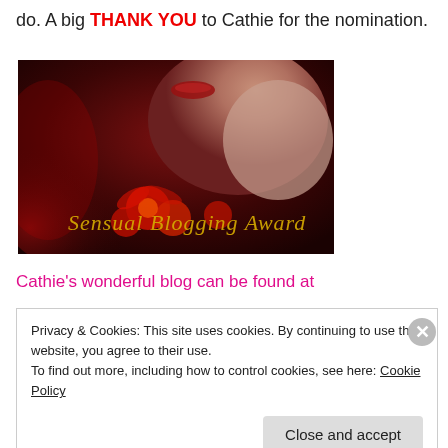do. A big THANK YOU to Cathie for the nomination.
[Figure (illustration): Sensual Blogging Award image — red and dark artistic photo of a woman with red flowers and gold cursive text reading 'Sensual Blogging Award']
Cathie's wonderful blog can be found at
Privacy & Cookies: This site uses cookies. By continuing to use this website, you agree to their use. To find out more, including how to control cookies, see here: Cookie Policy
Close and accept